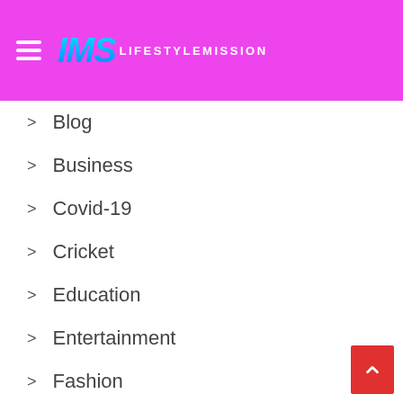IMS LIFESTYLEMISSION
Blog
Business
Covid-19
Cricket
Education
Entertainment
Fashion
Featured
Finance
Food
Foods
Games
Health